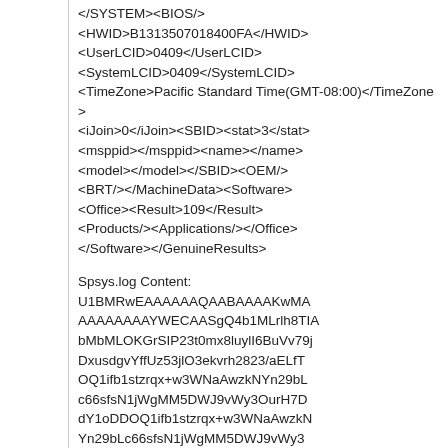</SYSTEM><BIOS/><HWID>B1313507018400FA</HWID><UserLCID>0409</UserLCID><SystemLCID>0409</SystemLCID><TimeZone>Pacific Standard Time(GMT-08:00)</TimeZone><iJoin>0</iJoin><SBID><stat>3</stat><msppid></msppid><name></name><model></model></SBID><OEM/><BRT/></MachineData><Software><Office><Result>109</Result><Products/><Applications/></Office></Software></GenuineResults>
Spsys.log Content: U1BMRwEAAAAAAQAABAAAAKwMAAAAAAAAAYWECAASgQ4b1MLrlh8TIAbMbMLOKGrSIP23t0mx8luylI6BuVv79jDxusdgvYffUz53jlO3ekvrh2823/aELfTOQ1ifb1stzrqx+w3WNaAwzkNYn29bLc66sfsN1jWgMM5DWJ9vWy3OurH7DdY1oDDOQ1ifb1stzrqx+w3WNaAwzkNYn29bLc66sfsN1jWgMM5DWJ9vWy3OurH7DdY1oDDOQ1ifb1stzrqx+w3WNaAwzkNYn29bLc66sfsN1jWgMM5DWJ9vWy3OurH7DdY1oDDOQ1ifb1stzrqx+w3WNaAwzkNYn29bLc66sfsN1jWgMM5DWJ9vWy3OurH7DdY1oDDOQ1ifb1stzrqx+w3WNaAyJx6jwmlhc0eFuIJB